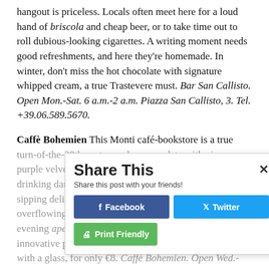hangout is priceless. Locals often meet here for a loud hand of briscola and cheap beer, or to take time out to roll dubious-looking cigarettes. A writing moment needs good refreshments, and here they're homemade. In winter, don't miss the hot chocolate with signature whipped cream, a true Trastevere must. Bar San Callisto. Open Mon.-Sat. 6 a.m.-2 a.m. Piazza San Callisto, 3. Tel. +39.06.589.5670.
Caffè Bohemien This Monti café-bookstore is a true turn-of-the-20th century salon, complete with piano, purple velvet chandeliers, frazzled artists and absinthe-drinking dandies. Sink into the plush armchairs while sipping delightful teas, gather inspiration at the overflowing bookshelves, and take advantage of the evening aperitivo (aperitivo-style dinner) with its innovative pasta dishes, soups and salads. All of it comes with a glass, for only €8. Caffè Bohemien. Open Wed.-Mon. 6 p.m. to 2 a.m. Via degli Zingari, 35/
[Figure (screenshot): Share This popup overlay with Facebook (blue), Twitter (light blue), and Print Friendly (green) buttons, and a close (x) button. Subtext: 'Share this post with your friends!']